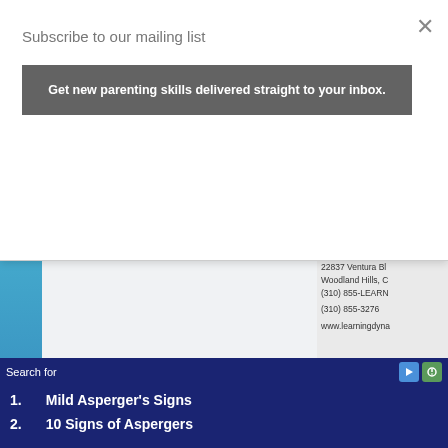Subscribe to our mailing list
Get new parenting skills delivered straight to your inbox.
I hope this email f... to request your co... of professionals.
Learning Dynami... 22837 Ventura Bl... Woodland Hills, C... (310) 855-LEARN (310) 855-3276 www.learningdyna...
Search for
1. Mild Asperger's Signs
2. 10 Signs of Aspergers